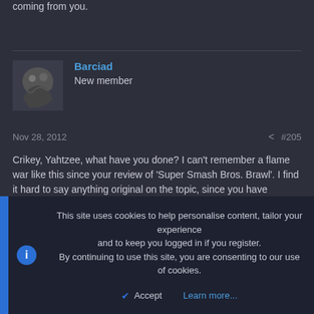coming from you.
Barciad
New member
Nov 28, 2012   #205
Crikey, Yahtzee, what have you done? I can't remember a flame war like this since your review of 'Super Smash Bros. Brawl'. I find it hard to say anything original on the topic, since you have already covered most of it. I will be honest in saying that I find these flag waving, semi-imperialistic games tiresome in the extreme. Yet, at the same time, I tend to usual play historical grand strategy games like Total War. Am I being hypocritical here or is there a genuine disconnect between the game play and events? Especially since the Ottoman Empire has been officially defunct for close
This site uses cookies to help personalise content, tailor your experience and to keep you logged in if you register.
By continuing to use this site, you are consenting to our use of cookies.
Accept   Learn more...